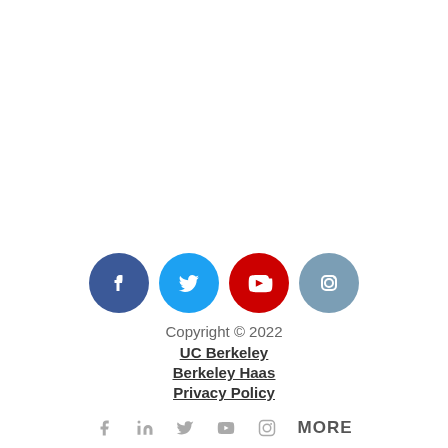[Figure (logo): Row of four colored social media icon circles: Facebook (dark blue), Twitter (light blue), YouTube (red), Instagram (gray-blue)]
Copyright © 2022
UC Berkeley
Berkeley Haas
Privacy Policy
[Figure (logo): Row of gray social media icons: Facebook, LinkedIn, Twitter, YouTube, Instagram, followed by MORE text]